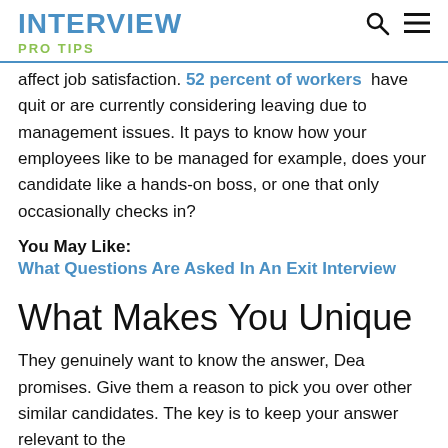INTERVIEW PRO TIPS
affect job satisfaction. 52 percent of workers have quit or are currently considering leaving due to management issues. It pays to know how your employees like to be managed for example, does your candidate like a hands-on boss, or one that only occasionally checks in?
You May Like:
What Questions Are Asked In An Exit Interview
What Makes You Unique
They genuinely want to know the answer, Dea promises. Give them a reason to pick you over other similar candidates. The key is to keep your answer relevant to the